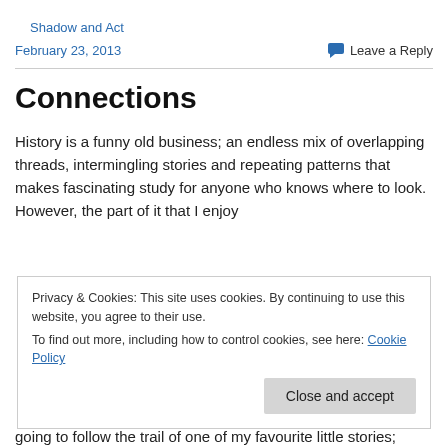Shadow and Act
February 23, 2013    Leave a Reply
Connections
History is a funny old business; an endless mix of overlapping threads, intermingling stories and repeating patterns that makes fascinating study for anyone who knows where to look. However, the part of it that I enjoy
Privacy & Cookies: This site uses cookies. By continuing to use this website, you agree to their use.
To find out more, including how to control cookies, see here: Cookie Policy
going to follow the trail of one of my favourite little stories;